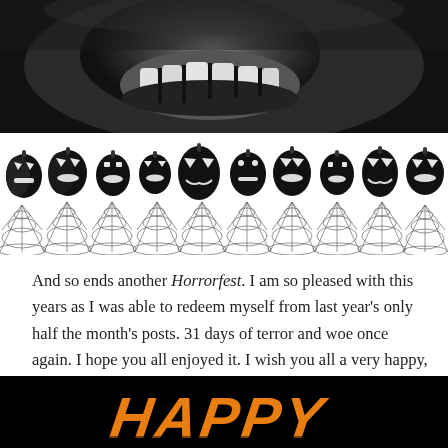[Figure (photo): Black and white close-up photo of a scary face with large teeth, partially visible at the top of the page]
[Figure (illustration): A decorative Halloween banner featuring a row of black jack-o-lanterns with spider web designs below them, displayed on a white background]
And so ends another Horrorfest. I am so pleased with this years as I was able to redeem myself from last year's only half the month's posts. 31 days of terror and woe once again. I hope you all enjoyed it. I wish you all a very happy, and safe, Halloween. May it be everything you wish it to be.
[Figure (illustration): Black background with orange stylized text reading HAPPY in a Halloween-themed font, partially visible at the bottom of the page]